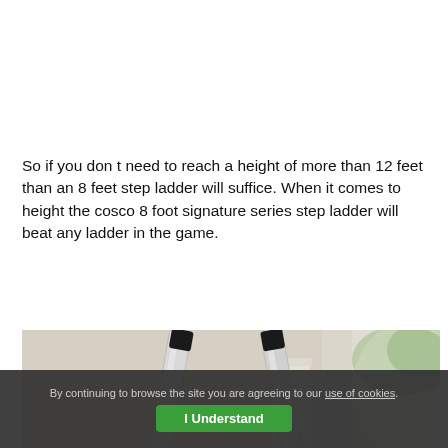So if you don t need to reach a height of more than 12 feet than an 8 feet step ladder will suffice. When it comes to height the cosco 8 foot signature series step ladder will beat any ladder in the game.
[Figure (photo): Photo of a step ladder with two silver/white legs spread open, photographed from below looking up, with a blurred indoor background showing a white column and window light.]
By continuing to browse the site you are agreeing to our use of cookies. I Understand